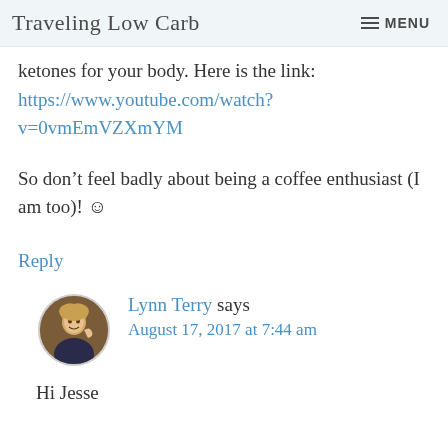Traveling Low Carb  MENU
ketones for your body. Here is the link: https://www.youtube.com/watch?v=0vmEmVZXmYM
So don’t feel badly about being a coffee enthusiast (I am too)! ☺
Reply
Lynn Terry says August 17, 2017 at 7:44 am
Hi Jesse